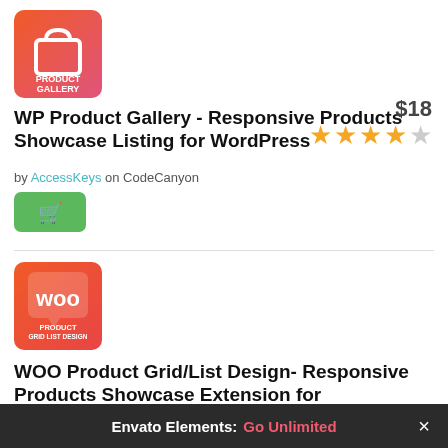[Figure (logo): WP Product Gallery logo with gradient pink-red background, shopping bag icon, text PRODUCT GALLERY]
WP Product Gallery - Responsive Products Showcase Listing for WordPress
by AccessKeys on CodeCanyon
[Figure (other): Green cart/buy button with shopping cart icon]
$18
4 out of 5 stars rating
[Figure (logo): WOO Product Grid List Design logo with coral/orange-red background showing WOO text in speech bubble]
WOO Product Grid/List Design- Responsive Products Showcase Extension for WooCommerce
by AccessKeys on CodeCanyon
Envato Elements: Go Unlimited ×